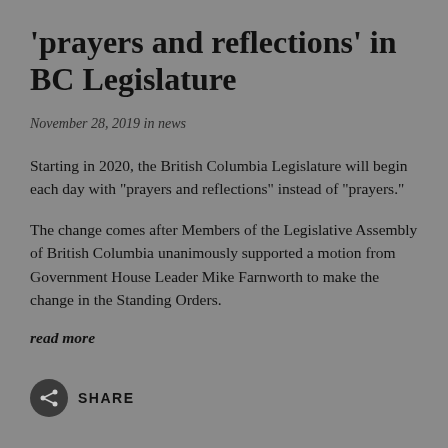'prayers and reflections' in BC Legislature
November 28, 2019 in news
Starting in 2020, the British Columbia Legislature will begin each day with "prayers and reflections" instead of "prayers."
The change comes after Members of the Legislative Assembly of British Columbia unanimously supported a motion from Government House Leader Mike Farnworth to make the change in the Standing Orders.
read more
[Figure (other): Share button with circular icon containing a network/share symbol and the text SHARE]